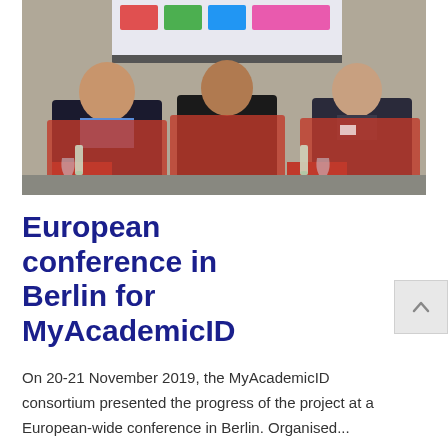[Figure (photo): Three men seated in red chairs at a panel discussion, with a projected presentation screen visible in the background showing colorful tiles. Water bottles and wine glasses are on red side tables.]
European conference in Berlin for MyAcademicID
On 20-21 November 2019, the MyAcademicID consortium presented the progress of the project at a European-wide conference in Berlin. Organised...